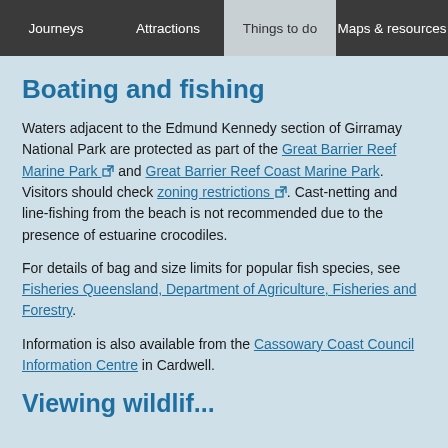Journeys | Attractions | Things to do | Maps & resources
Boating and fishing
Waters adjacent to the Edmund Kennedy section of Girramay National Park are protected as part of the Great Barrier Reef Marine Park and Great Barrier Reef Coast Marine Park. Visitors should check zoning restrictions. Cast-netting and line-fishing from the beach is not recommended due to the presence of estuarine crocodiles.
For details of bag and size limits for popular fish species, see Fisheries Queensland, Department of Agriculture, Fisheries and Forestry.
Information is also available from the Cassowary Coast Council Information Centre in Cardwell.
Viewing wildlif…